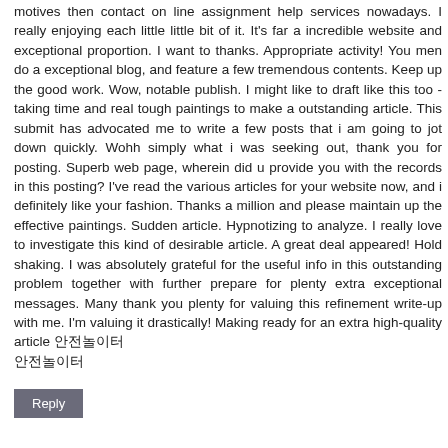motives then contact on line assignment help services nowadays. I really enjoying each little little bit of it. It's far a incredible website and exceptional proportion. I want to thanks. Appropriate activity! You men do a exceptional blog, and feature a few tremendous contents. Keep up the good work. Wow, notable publish. I might like to draft like this too - taking time and real tough paintings to make a outstanding article. This submit has advocated me to write a few posts that i am going to jot down quickly. Wohh simply what i was seeking out, thank you for posting. Superb web page, wherein did u provide you with the records in this posting? I've read the various articles for your website now, and i definitely like your fashion. Thanks a million and please maintain up the effective paintings. Sudden article. Hypnotizing to analyze. I really love to investigate this kind of desirable article. A great deal appeared! Hold shaking. I was absolutely grateful for the useful info in this outstanding problem together with further prepare for plenty extra exceptional messages. Many thank you plenty for valuing this refinement write-up with me. I'm valuing it drastically! Making ready for an extra high-quality article 안전놀이터
Reply